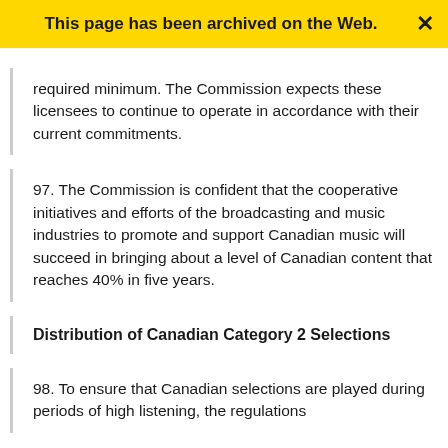This page has been archived on the Web.
required minimum. The Commission expects these licensees to continue to operate in accordance with their current commitments.
97. The Commission is confident that the cooperative initiatives and efforts of the broadcasting and music industries to promote and support Canadian music will succeed in bringing about a level of Canadian content that reaches 40% in five years.
Distribution of Canadian Category 2 Selections
98. To ensure that Canadian selections are played during periods of high listening, the regulations